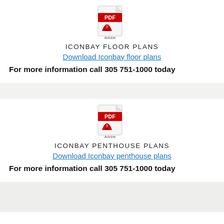[Figure (logo): Adobe PDF icon for Iconbay Floor Plans]
ICONBAY FLOOR PLANS
Download Iconbay floor plans
For more information call 305 751-1000 today
[Figure (logo): Adobe PDF icon for Iconbay Penthouse Plans]
ICONBAY PENTHOUSE PLANS
Download Iconbay penthouse plans
For more information call 305 751-1000 today